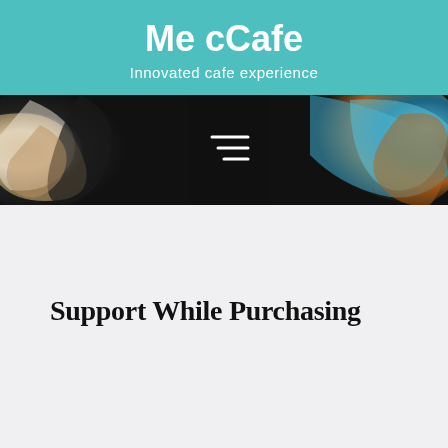Me cCafe
Innovated cafe experience
[Figure (photo): Abstract swirling colorful marble-like image used as hero banner, with a hamburger menu icon overlay in the center]
Support While Purchasing